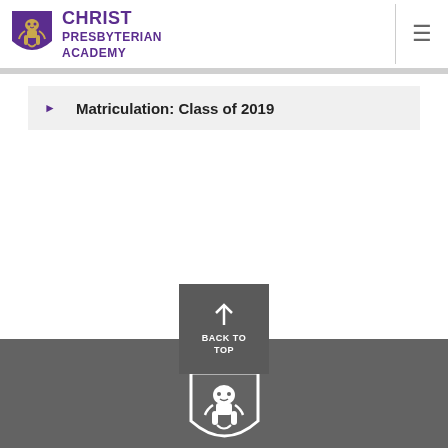[Figure (logo): Christ Presbyterian Academy shield logo with lion and school name in purple]
Matriculation: Class of 2019
[Figure (other): Back to top button with upward arrow icon]
[Figure (logo): Christ Presbyterian Academy white shield logo on dark gray footer background]
Christ